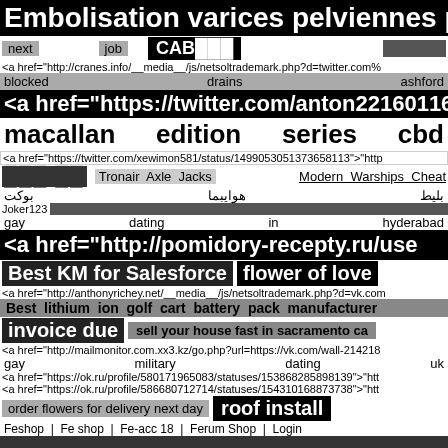Embolisation varices pelviennes prix
next   job   CAB███   ██████
<a href="http://cranes.info/__media__/js/netsoltrademark.php?d=twitter.com%
blocked   drains   ashford
<a href="https://twitter.com/anton22160116/status/1
macallan   edition   series   cbd
<a href="https://twitter.com/xewimon581/status/1499053051373658113">"http
███ ██   Tronair Axle Jacks   Modern Warships Cheat
بوكت   هوايبما   بليط
Joker123 ████ ██████ ████████████████████████ ████████████████████████ ████ █
gay   dating   in   hyderabad
<a href="http://pomidory-recepty.ru/use
Best KM for Salesforce   flower of love
<a href="http://anthonyrichey.net/__media__/js/netsoltrademark.php?d=vk.com
Best lithium ion golf cart battery pack manufacturer
invoice due   sell your house fast in sacramento ca
<a href="http://mailmonitor.com.xx3.kz/go.php?url=https://vk.com/wall-214218
gay   military   dating   uk
<a href="https://ok.ru/profile/580171965083/statuses/153868285898139">"htt
<a href="https://ok.ru/profile/586680712714/statuses/154310168873738">"htt
order flowers for delivery next day   roof install
Feshop | Fe shop | Fe-acc 18 | Ferum Shop | Login
████████████